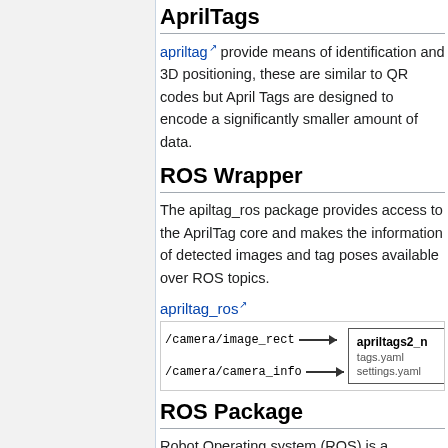AprilTags
apriltag provide means of identification and 3D positioning, these are similar to QR codes but April Tags are designed to encode a significantly smaller amount of data.
ROS Wrapper
The apiltag_ros package provides access to the AprilTag core and makes the information of detected images and tag poses available over ROS topics.
apriltag_ros
[Figure (flowchart): Diagram showing /camera/image_rect and /camera/camera_info as inputs with arrows pointing to an apriltags2 node box labeled with tags.yaml and settings.yaml]
ROS Package
Robot Operating system (ROS) is a